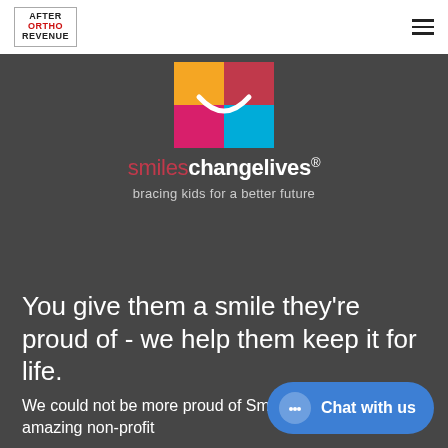AFTER ORTHO REVENUE
[Figure (logo): Smiles Change Lives logo: four-color grid (orange, red/dark, pink, blue) with white smile curve overlay, brand name 'smileschangelives®' and tagline 'bracing kids for a better future']
You give them a smile they're proud of - we help them keep it for life.
We could not be more proud of Smiles Change Lives, an amazing non-profit